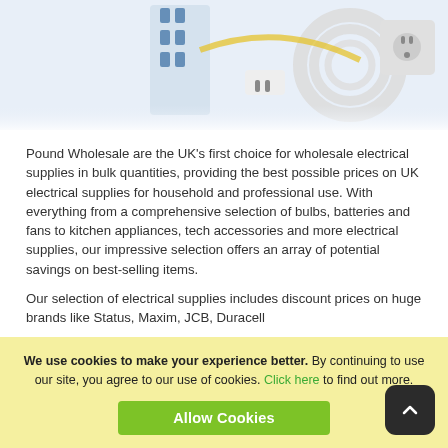[Figure (photo): Photo of electrical supplies including circuit breakers, cables, plugs, and a wall socket outlet, on a white background]
Pound Wholesale are the UK's first choice for wholesale electrical supplies in bulk quantities, providing the best possible prices on UK electrical supplies for household and professional use. With everything from a comprehensive selection of bulbs, batteries and fans to kitchen appliances, tech accessories and more electrical supplies, our impressive selection offers an array of potential savings on best-selling items.
Our selection of electrical supplies includes discount prices on huge brands like Status, Maxim, JCB, Duracell
We use cookies to make your experience better. By continuing to use our site, you agree to our use of cookies. Click here to find out more.
Allow Cookies